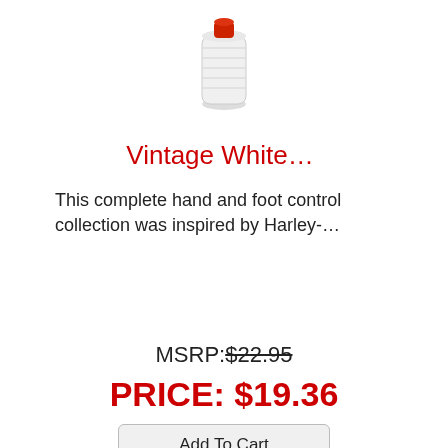[Figure (photo): Product image of a Vintage White hand/foot control component — white cylindrical part with red cap]
Vintage White…
This complete hand and foot control collection was inspired by Harley-…
MSRP: $22.95
PRICE: $19.36
Add To Cart
33600075
About Us | Privacy Policy | Return Policy | FAQs | Terms & Services | Contact Us | Harley Davidson Accessories and Parts